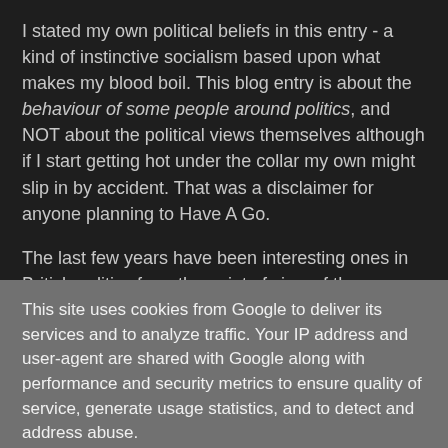I stated my own political beliefs in this entry - a kind of instinctive socialism based upon what makes my blood boil. This blog entry is about the behaviour of some people around politics, and NOT about the political views themselves although if I start getting hot under the collar my own might slip in by accident. That was a disclaimer for anyone planning to Have A Go.
The last few years have been interesting ones in British politics from the point of view of the responses of these false socialists to political events. Things not being quite as
This site uses cookies from Google to deliver its services and to analyze traffic. Your IP address and user-agent are shared with Google along with performance and security metrics to ensure quality of service, generate usage statistics, and to detect and address abuse.
LEARN MORE    OK